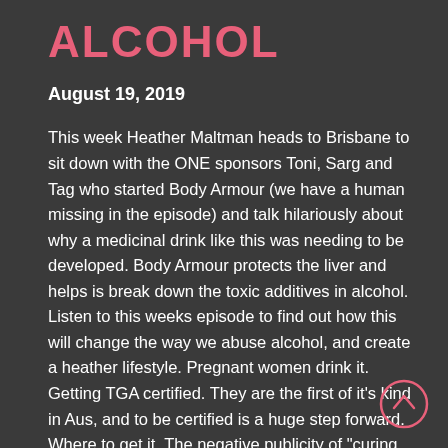ALCOHOL
August 19, 2019
This week Heather Maltman heads to Brisbane to sit down with the ONE sponsors Toni, Sarg and Tag who started Body Armour (we have a human missing in the episode) and talk hilariously about why a medicinal drink like this was needing to be developed. Body Armour protects the liver and helps is break down the toxic additives in alcohol. Listen to this weeks episode to find out how this will change the way we abuse alcohol, and create a heather lifestyle. Pregnant women drink it. Getting TGA certified. They are the first of it's kind in Aus, and to be certified is a huge step forward. Where to get it. The negative publicity of "curing